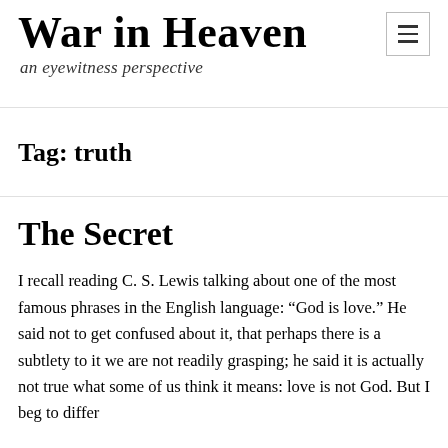War in Heaven an eyewitness perspective
Tag: truth
The Secret
I recall reading C. S. Lewis talking about one of the most famous phrases in the English language: “God is love.” He said not to get confused about it, that perhaps there is a subtlety to it we are not readily grasping; he said it is actually not true what some of us think it means: love is not God. But I beg to differ